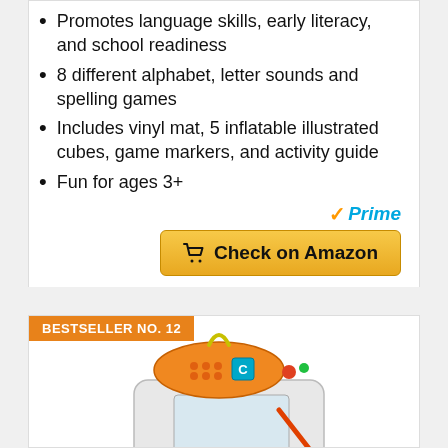Promotes language skills, early literacy, and school readiness
8 different alphabet, letter sounds and spelling games
Includes vinyl mat, 5 inflatable illustrated cubes, game markers, and activity guide
Fun for ages 3+
Prime
Check on Amazon
BESTSELLER NO. 12
[Figure (photo): A children's educational drawing tablet toy with orange and green accents, featuring a stylus and letter keys, displayed on a white background.]